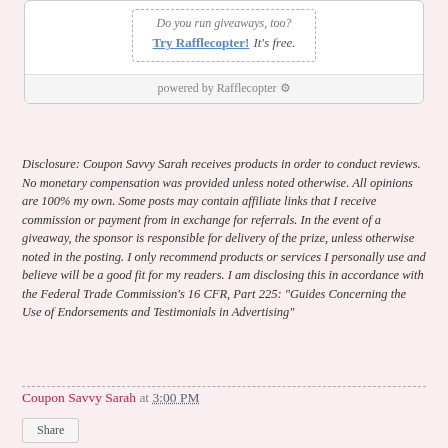[Figure (other): Rafflecopter giveaway widget box with dotted inner border showing 'Do you run giveaways, too? Try Rafflecopter! It's free.' and a 'powered by Rafflecopter' footer bar.]
Disclosure: Coupon Savvy Sarah receives products in order to conduct reviews. No monetary compensation was provided unless noted otherwise. All opinions are 100% my own. Some posts may contain affiliate links that I receive commission or payment from in exchange for referrals. In the event of a giveaway, the sponsor is responsible for delivery of the prize, unless otherwise noted in the posting. I only recommend products or services I personally use and believe will be a good fit for my readers. I am disclosing this in accordance with the Federal Trade Commission's 16 CFR, Part 225: "Guides Concerning the Use of Endorsements and Testimonials in Advertising"
Coupon Savvy Sarah at 3:00 PM
Share